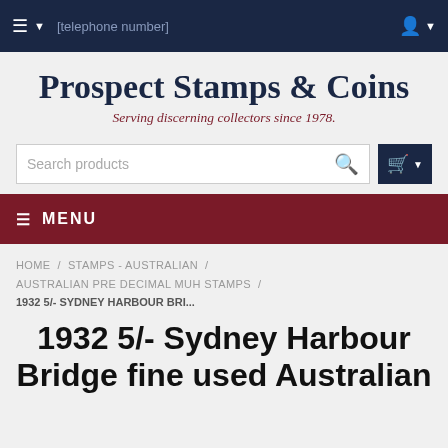≡ ▾   [telephone number]   👤 ▾
Prospect Stamps & Coins
Serving discerning collectors since 1978.
Search products
≡ MENU
HOME / STAMPS - AUSTRALIAN / AUSTRALIAN PRE DECIMAL MUH STAMPS / 1932 5/- SYDNEY HARBOUR BRI...
1932 5/- Sydney Harbour Bridge fine used Australian